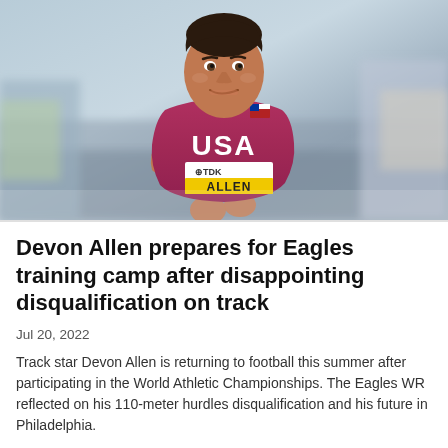[Figure (photo): Devon Allen, USA track athlete, running in a pink/magenta USA Nike singlet with TDK sponsor bib showing 'ALLEN', competing at World Athletic Championships]
Devon Allen prepares for Eagles training camp after disappointing disqualification on track
Jul 20, 2022
Track star Devon Allen is returning to football this summer after participating in the World Athletic Championships. The Eagles WR reflected on his 110-meter hurdles disqualification and his future in Philadelphia.